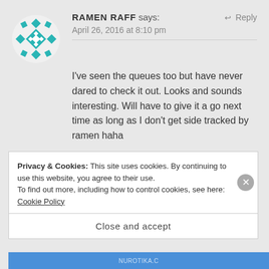RAMEN RAFF says: April 26, 2016 at 8:10 pm
I've seen the queues too but have never dared to check it out. Looks and sounds interesting. Will have to give it a go next time as long as I don't get side tracked by ramen haha
★ Like
Privacy & Cookies: This site uses cookies. By continuing to use this website, you agree to their use. To find out more, including how to control cookies, see here: Cookie Policy
Close and accept